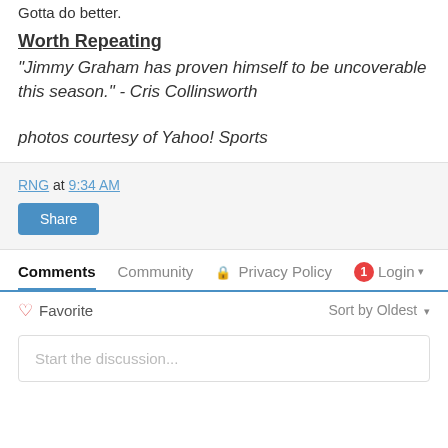Gotta do better.
Worth Repeating
"Jimmy Graham has proven himself to be uncoverable this season." - Cris Collinsworth
photos courtesy of Yahoo! Sports
RNG at 9:34 AM
Share
Comments  Community  Privacy Policy  1  Login
Favorite  Sort by Oldest
Start the discussion...